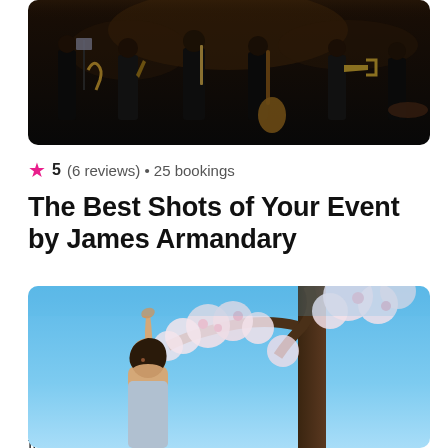[Figure (photo): Orchestra or band musicians performing on a dark stage, visible instruments including saxophones and guitars, music stands with sheet music]
★ 5 (6 reviews) • 25 bookings
The Best Shots of Your Event by James Armandary
Whatever your event needs are, I can help! From corporate events to fire festivals, and just about everything in between, I've got experience of just about everything you could imagine!
from £100 / per event
[Figure (photo): Woman reaching upward toward cherry blossom tree against a blue sky background]